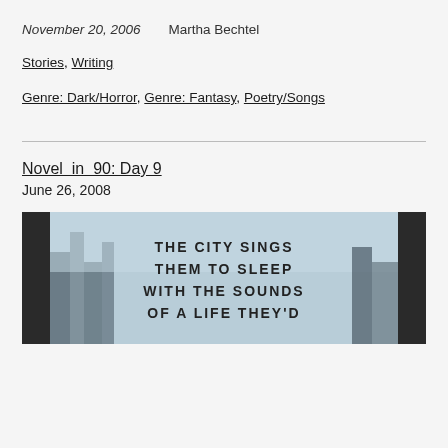November 20, 2006    Martha Bechtel
Stories, Writing
Genre: Dark/Horror, Genre: Fantasy, Poetry/Songs
Novel in 90: Day 9
June 26, 2008
[Figure (photo): Photo collage showing city buildings with overlaid text reading: THE CITY SINGS THEM TO SLEEP WITH THE SOUNDS OF A LIFE THEY'D]